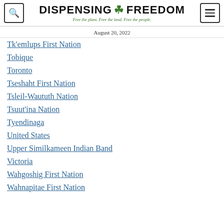DISPENSING FREEDOM — Free the plant. Free the land. Free the people.
August 20, 2022
Tk'emlups First Nation
Tobique
Toronto
Tseshaht First Nation
Tsleil-Waututh Nation
Tsuut'ina Nation
Tyendinaga
United States
Upper Similkameen Indian Band
Victoria
Wahgoshig First Nation
Wahnapitae First Nation